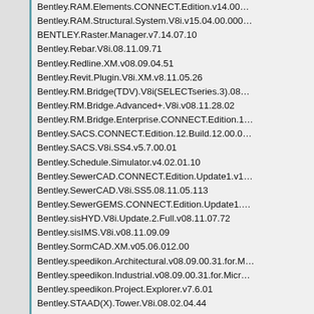Bentley.RAM.Elements.CONNECT.Edition.v14.00...
Bentley.RAM.Structural.System.V8i.v15.04.00.000...
BENTLEY.Raster.Manager.v7.14.07.10
Bentley.Rebar.V8i.08.11.09.71
Bentley.Redline.XM.v08.09.04.51
Bentley.Revit.Plugin.V8i.XM.v8.11.05.26
Bentley.RM.Bridge(TDV).V8i(SELECTseries.3).08...
Bentley.RM.Bridge.Advanced+.V8i.v08.11.28.02
Bentley.RM.Bridge.Enterprise.CONNECT.Edition.1...
Bentley.SACS.CONNECT.Edition.12.Build.12.00.0...
Bentley.SACS.V8i.SS4.v5.7.00.01
Bentley.Schedule.Simulator.v4.02.01.10
Bentley.SewerCAD.CONNECT.Edition.Update1.v1...
Bentley.SewerCAD.V8i.SS5.08.11.05.113
Bentley.SewerGEMS.CONNECT.Edition.Update1....
Bentley.sisHYD.V8i.Update.2.Full.v08.11.07.72
Bentley.sisIMS.V8i.v08.11.09.09
Bentley.SormCAD.XM.v05.06.012.00
Bentley.speedikon.Architectural.v08.09.00.31.for.M...
Bentley.speedikon.Industrial.v08.09.00.31.for.Micr...
Bentley.speedikon.Project.Explorer.v7.6.01
Bentley.STAAD(X).Tower.V8i.08.02.04.44
Bentley.STAAD(X).v8i.v08.02.02.75
Bentley.STAAD.Advanced.Concrete.Design.RCDC...
Bentley.STAAD.Foundation.Advanced.CONNECT...